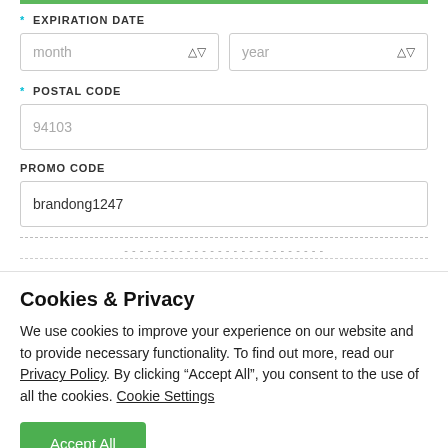* EXPIRATION DATE
[Figure (screenshot): Two dropdown select boxes side by side labeled 'month' and 'year' with up/down arrows]
* POSTAL CODE
[Figure (screenshot): Text input box with placeholder '94103']
PROMO CODE
[Figure (screenshot): Text input box containing 'brandong1247']
partially visible dashed text line
Cookies & Privacy
We use cookies to improve your experience on our website and to provide necessary functionality. To find out more, read our Privacy Policy. By clicking “Accept All”, you consent to the use of all the cookies. Cookie Settings
[Figure (screenshot): Green 'Accept All' button]